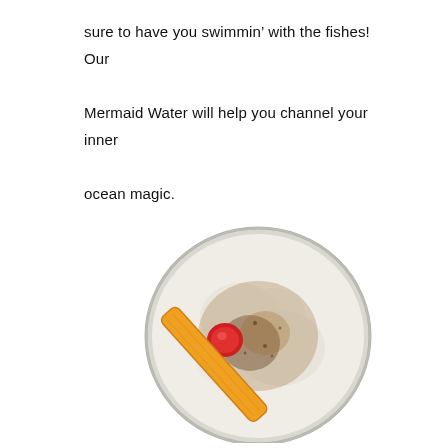sure to have you swimmin’ with the fishes! Our Mermaid Water will help you channel your inner ocean magic.
[Figure (photo): Top-down view of a cocktail in a glass with a creamy frothy surface dusted with spices, a cherry, and an orange peel garnish resting diagonally across the glass.]